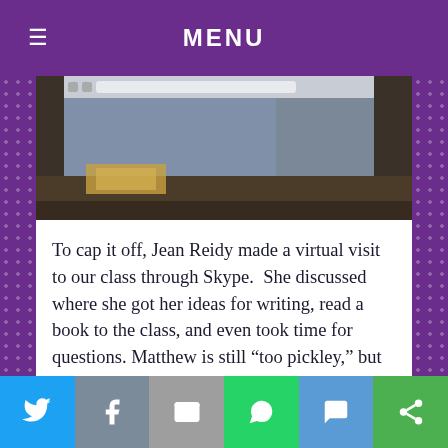MENU
[Figure (photo): A classroom scene showing a projector screen or monitor displaying a webpage, with books and classroom items visible in the foreground.]
To cap it off, Jean Reidy made a virtual visit to our class through Skype.  She discussed where she got her ideas for writing, read a book to the class, and even took time for questions. Matthew is still “too pickley,” but thanks to him, my class was able to use Jean Reidy’s books in class, meet Ms. Reidy, and enhance our knowledge of writing through real life experiences!
Kevin McCann is a third grade teacher at John F. Kennedy Elementary School in South